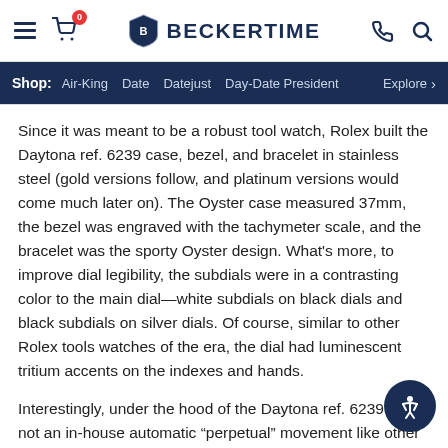BECKERTIME — menu, cart, phone, search
Shop: Air-King  Date  Datejust  Day-Date President  Explore >
Since it was meant to be a robust tool watch, Rolex built the Daytona ref. 6239 case, bezel, and bracelet in stainless steel (gold versions follow, and platinum versions would come much later on). The Oyster case measured 37mm, the bezel was engraved with the tachymeter scale, and the bracelet was the sporty Oyster design. What's more, to improve dial legibility, the subdials were in a contrasting color to the main dial—white subdials on black dials and black subdials on silver dials. Of course, similar to other Rolex tools watches of the era, the dial had luminescent tritium accents on the indexes and hands.
Interestingly, under the hood of the Daytona ref. 6239 was not an in-house automatic “perpetual” movement like other Rolex watches of the same period. Instead, it was a manual-wound Valjoux chronograph movement with about 48 hours of power reserve.